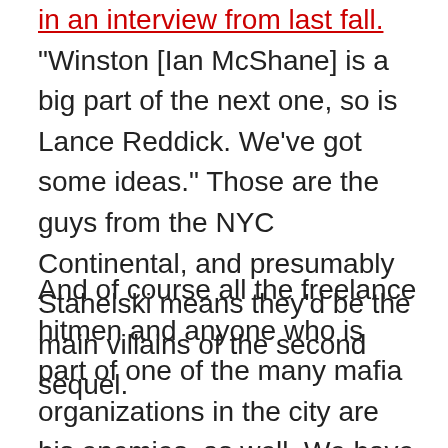in an interview from last fall. "Winston [Ian McShane] is a big part of the next one, so is Lance Reddick. We've got some ideas." Those are the guys from the NYC Continental, and presumably Stahelski means they'd be the main villains of the second sequel.
And of course all the freelance hitmen and anyone who is part of one of the many mafia organizations in the city are his enemies, as well. We have to see Laurence Fishburne's fake-homeless-leading Bowery King again, and perhaps we'll see more of the Nigerian mob seen dealing with Gianna in Rome. Who else is still